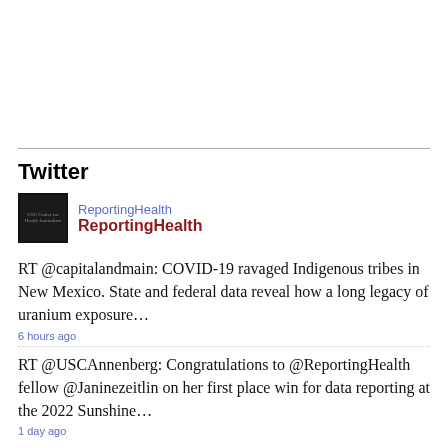Twitter
[Figure (logo): ReportingHealth profile image - dark background with small text]
ReportingHealth
ReportingHealth
RT @capitalandmain: COVID-19 ravaged Indigenous tribes in New Mexico. State and federal data reveal how a long legacy of uranium exposure…
6 hours ago
RT @USCAnnenberg: Congratulations to @ReportingHealth fellow @Janinezeitlin on her first place win for data reporting at the 2022 Sunshine…
1 day ago
See more tweets »